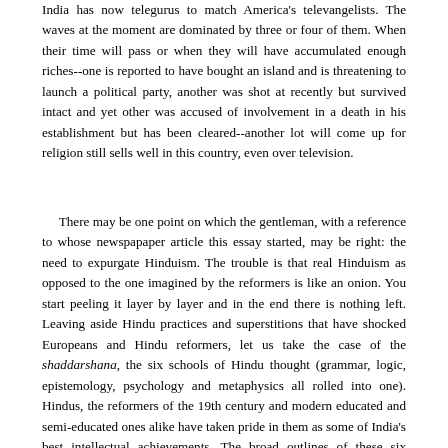India has now telegurus to match America's televangelists. The waves at the moment are dominated by three or four of them. When their time will pass or when they will have accumulated enough riches--one is reported to have bought an island and is threatening to launch a political party, another was shot at recently but survived intact and yet other was accused of involvement in a death in his establishment but has been cleared--another lot will come up for religion still sells well in this country, even over television.
There may be one point on which the gentleman, with a reference to whose newspapaper article this essay started, may be right: the need to expurgate Hinduism. The trouble is that real Hinduism as opposed to the one imagined by the reformers is like an onion. You start peeling it layer by layer and in the end there is nothing left. Leaving aside Hindu practices and superstitions that have shocked Europeans and Hindu reformers, let us take the case of the shaddarshana, the six schools of Hindu thought (grammar, logic, epistemology, psychology and metaphysics all rolled into one). Hindus, the reformers of the 19th century and modern educated and semi-educated ones alike have taken pride in them as some of India's best intellectual achievements. The broad outlines of these six schools were already developed by the beginning of the Christian era. Brahmanical scholars spent the next eighteen hundred years debating disputatiously